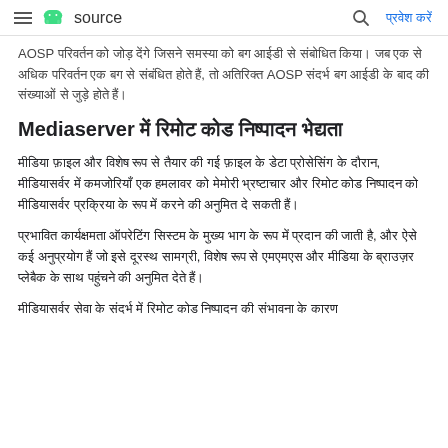☰ android source | 🔍 प्रवेश करें
AOSP परिवर्तन को जोड़ देंगे जिसने समस्या को बग आईडी से संबोधित किया। जब एक से अधिक परिवर्तन एक बग से संबंधित होते हैं, तो अतिरिक्त AOSP संदर्भ बग आईडी के बाद की संख्याओं से जुड़े होते हैं।
Mediaserver में रिमोट कोड निष्पादन भेद्यता
मीडिया फ़ाइल और विशेष रूप से तैयार की गई फ़ाइल के डेटा प्रोसेसिंग के दौरान, मीडियासर्वर में कमजोरियाँ एक हमलावर को मेमोरी भ्रष्टाचार और रिमोट कोड निष्पादन को मीडियासर्वर प्रक्रिया के रूप में करने की अनुमित दे सकती हैं।
प्रभावित कार्यक्षमता ऑपरेटिंग सिस्टम के मुख्य भाग के रूप में प्रदान की जाती है, और ऐसे कई अनुप्रयोग हैं जो इसे दूरस्थ सामग्री, विशेष रूप से एमएमएस और मीडिया के ब्राउज़र प्लेबैक के साथ पहुंचने की अनुमित देते हैं।
मीडियासर्वर सेवा के संदर्भ में रिमोट कोड निष्पादन की संभावना के कारण